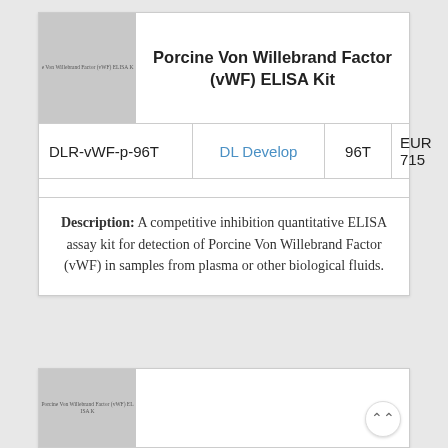[Figure (photo): Gray placeholder image for Porcine Von Willebrand Factor (vWF) ELISA Kit product thumbnail]
Porcine Von Willebrand Factor (vWF) ELISA Kit
| Catalog | Brand | Size | Price |
| --- | --- | --- | --- |
| DLR-vWF-p-96T | DL Develop | 96T | EUR 715 |
Description: A competitive inhibition quantitative ELISA assay kit for detection of Porcine Von Willebrand Factor (vWF) in samples from plasma or other biological fluids.
[Figure (photo): Gray placeholder image for second product listing thumbnail]